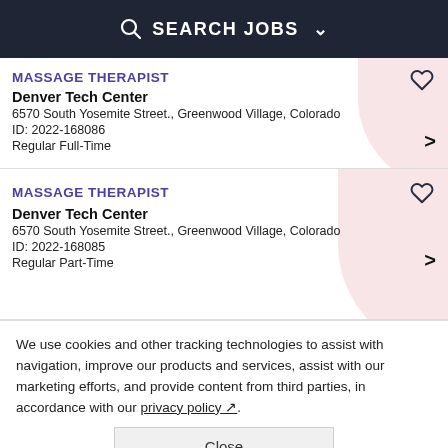SEARCH JOBS
MASSAGE THERAPIST
Denver Tech Center
6570 South Yosemite Street., Greenwood Village, Colorado
ID: 2022-168086
Regular Full-Time
MASSAGE THERAPIST
Denver Tech Center
6570 South Yosemite Street., Greenwood Village, Colorado
ID: 2022-168085
Regular Part-Time
We use cookies and other tracking technologies to assist with navigation, improve our products and services, assist with our marketing efforts, and provide content from third parties, in accordance with our privacy policy.
Close